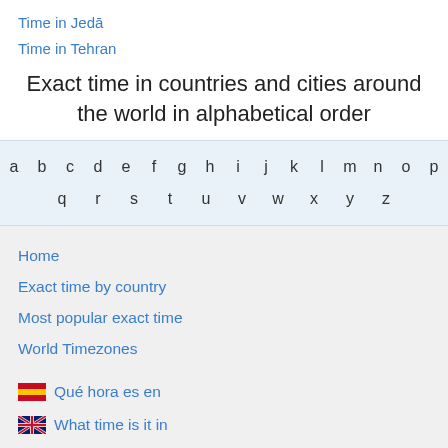Time in Jedā
Time in Tehran
Exact time in countries and cities around the world in alphabetical order
a b c d e f g h i j k l m n o p q r s t u v w x y z
Home
Exact time by country
Most popular exact time
World Timezones
Qué hora es en
What time is it in
Que horas são em
Che ora è a
Quelle heure est-il